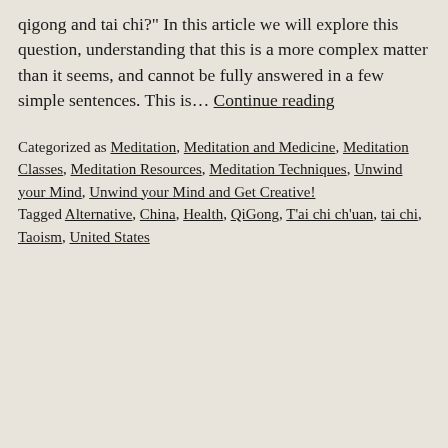qigong and tai chi?" In this article we will explore this question, understanding that this is a more complex matter than it seems, and cannot be fully answered in a few simple sentences. This is… Continue reading
Categorized as Meditation, Meditation and Medicine, Meditation Classes, Meditation Resources, Meditation Techniques, Unwind your Mind, Unwind your Mind and Get Creative! Tagged Alternative, China, Health, QiGong, T'ai chi ch'uan, tai chi, Taoism, United States